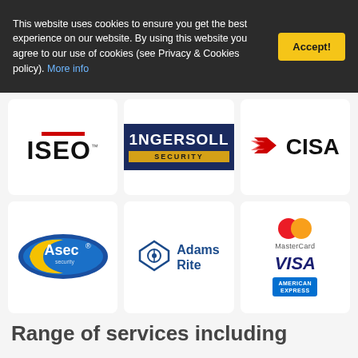This website uses cookies to ensure you get the best experience on our website. By using this website you agree to our use of cookies (see Privacy & Cookies policy). More info
[Figure (logo): ISEO security brand logo with red bar above letters]
[Figure (logo): Ingersoll Security logo on dark blue background with gold bar]
[Figure (logo): CISA logo with red diagonal arrows]
[Figure (logo): Asec security oval badge logo in blue and yellow]
[Figure (logo): Adams Rite logo with diamond key icon]
[Figure (logo): MasterCard, VISA, and American Express payment logos]
Range of services including
📞 020 7060 4182